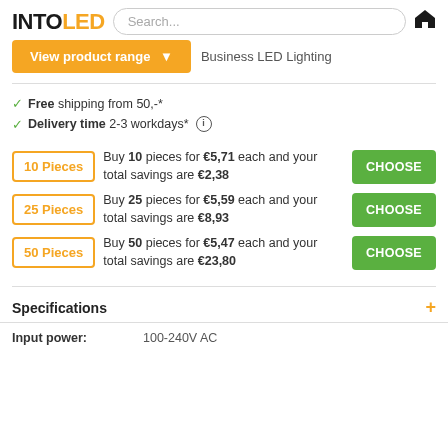[Figure (logo): IntoLED logo with INTO in black and LED in orange]
Search...
View product range ▼
Business LED Lighting
Free shipping from 50,-*
Delivery time 2-3 workdays* ℹ
Buy 10 pieces for €5,71 each and your total savings are €2,38
Buy 25 pieces for €5,59 each and your total savings are €8,93
Buy 50 pieces for €5,47 each and your total savings are €23,80
Specifications
| Label | Value |
| --- | --- |
| Input power: | 100-240V AC |